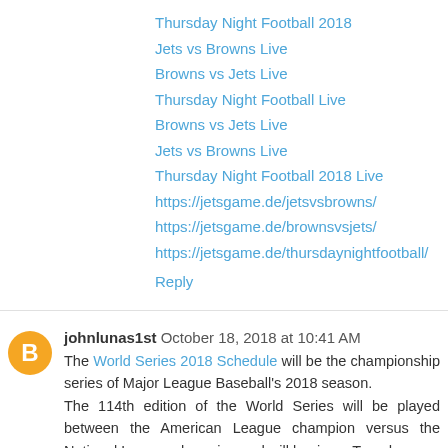Thursday Night Football 2018
Jets vs Browns Live
Browns vs Jets Live
Thursday Night Football Live
Browns vs Jets Live
Jets vs Browns Live
Thursday Night Football 2018 Live
https://jetsgame.de/jetsvsbrowns/
https://jetsgame.de/brownsvsjets/
https://jetsgame.de/thursdaynightfootball/
Reply
johnlunas1st October 18, 2018 at 10:41 AM
The World Series 2018 Schedule will be the championship series of Major League Baseball's 2018 season. The 114th edition of the World Series will be played between the American League champion versus the National League champion and will begin on Tuesday, October 23. A potential Game 7 is scheduled to be played on October 31.[2] The Series will be televised nationally by